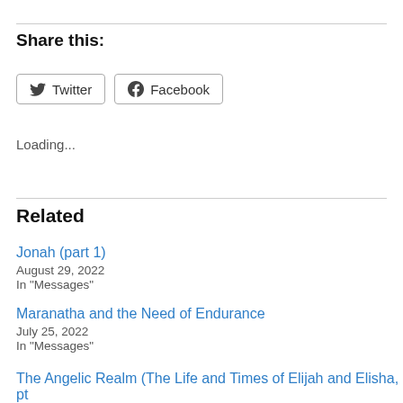Share this:
Twitter  Facebook
Loading...
Related
Jonah (part 1)
August 29, 2022
In "Messages"
Maranatha and the Need of Endurance
July 25, 2022
In "Messages"
The Angelic Realm (The Life and Times of Elijah and Elisha, pt